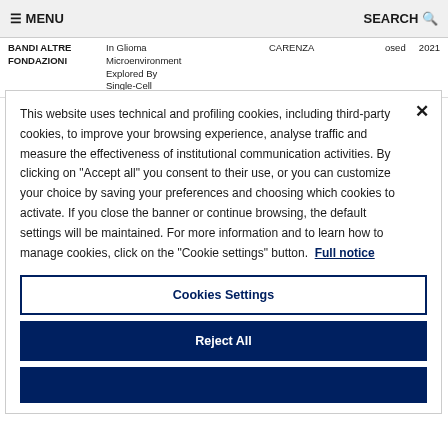≡ MENU    SEARCH 🔍    osed    2021
|  |  |  |  |
| --- | --- | --- | --- |
| BANDI ALTRE FONDAZIONI | In Glioma Microenvironment Explored By Single-Cell | CARENZA | osed    2021 |
This website uses technical and profiling cookies, including third-party cookies, to improve your browsing experience, analyse traffic and measure the effectiveness of institutional communication activities. By clicking on "Accept all" you consent to their use, or you can customize your choice by saving your preferences and choosing which cookies to activate. If you close the banner or continue browsing, the default settings will be maintained. For more information and to learn how to manage cookies, click on the "Cookie settings" button.  Full notice
Cookies Settings
Reject All